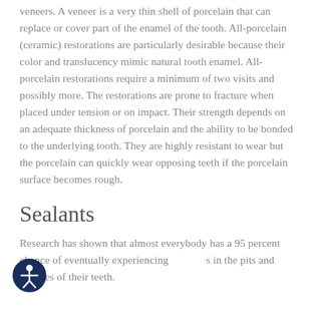veneers. A veneer is a very thin shell of porcelain that can replace or cover part of the enamel of the tooth. All-porcelain (ceramic) restorations are particularly desirable because their color and translucency mimic natural tooth enamel. All-porcelain restorations require a minimum of two visits and possibly more. The restorations are prone to fracture when placed under tension or on impact. Their strength depends on an adequate thickness of porcelain and the ability to be bonded to the underlying tooth. They are highly resistant to wear but the porcelain can quickly wear opposing teeth if the porcelain surface becomes rough.
Sealants
Research has shown that almost everybody has a 95 percent chance of eventually experiencing s in the pits and grooves of their teeth.